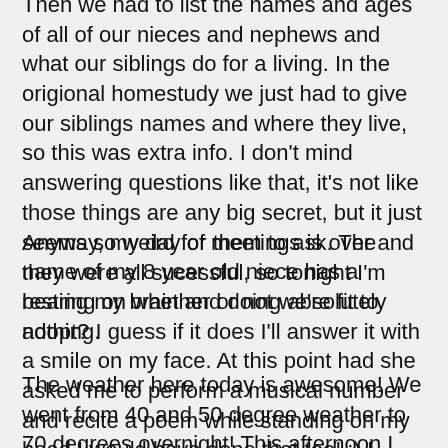Then we had to list the names and ages of all of our nieces and nephews and what our siblings do for a living. In the origional homestudy we just had to give our siblings names and where they live, so this was extra info. I don't mind answering questions like that, it's not like those things are any big secret, but it just seems so weird for them to ask. The name of my 8 year old niece has a bearing on whether or not we're fit to adopt? I guess if it does I'll answer it with a smile on my face. At this point had she asked me to perform a musical number and recite a poem while standing on my head I would have done that too! :) I really do enjoy our social worker and I'm happy to comply with whatever I need to do, but it is kind of weird experience.
Anyway, my day of meetings is over and they were all sucessful, so tonight I'm resting my brain and doing absolutely nothing.
The weather here today is awesome! We went from 40 and 50 degree weather to 70 degrees overnight! This afternoon I went outside and sat with the mama duck for a while. When I